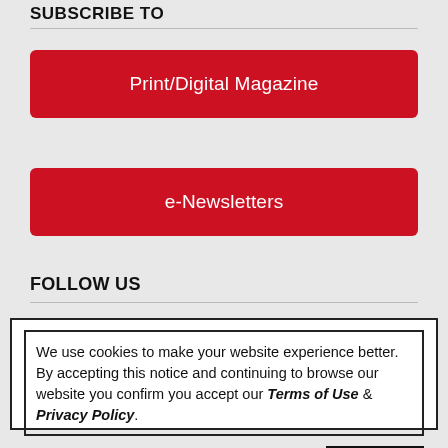SUBSCRIBE TO
Print/Digital Magazine
e-Newsletters
FOLLOW US
We use cookies to make your website experience better. By accepting this notice and continuing to browse our website you confirm you accept our Terms of Use & Privacy Policy.

read more >>
I Accept